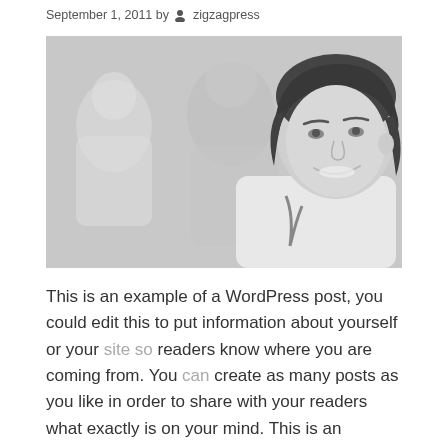September 1, 2011 by zigzagpress
[Figure (photo): Black and white photo of three people. A woman with dark short hair is in focus in the foreground smiling. A man and a blonde woman are blurred in the background.]
This is an example of a WordPress post, you could edit this to put information about yourself or your site so readers know where you are coming from. You can create as many posts as you like in order to share with your readers what exactly is on your mind. This is an